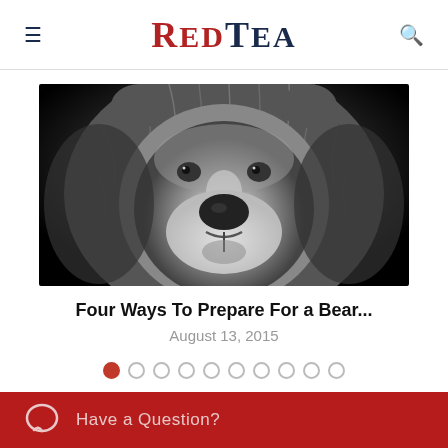RedTea
[Figure (photo): Black and white close-up photograph of a grizzly bear's face, looking directly at the camera with its mouth slightly open.]
Four Ways To Prepare For a Bear...
August 13, 2015
Carousel pagination dots (1 active out of 10)
Have a Question?